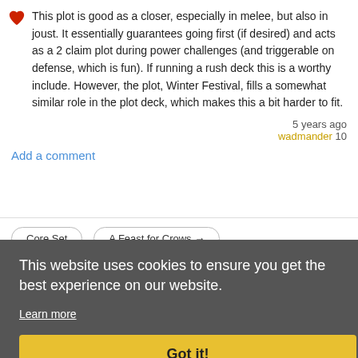This plot is good as a closer, especially in melee, but also in joust. It essentially guarantees going first (if desired) and acts as a 2 claim plot during power challenges (and triggerable on defense, which is fun). If running a rush deck this is a worthy include. However, the plot, Winter Festival, fills a somewhat similar role in the plot deck, which makes this a bit harder to fit.
5 years ago
wadmander 10
Add a comment
Core Set
A Feast for Crows →
This website uses cookies to ensure you get the best experience on our website.
Learn more
Got it!